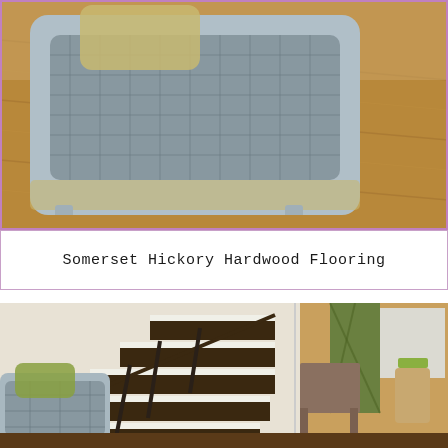[Figure (photo): Interior room photo showing a light blue/grey cane-backed chair with yellow-green cushions on hardwood flooring. The flooring is Somerset Hickory hardwood in a warm caramel/brown tone.]
Somerset Hickory Hardwood Flooring
[Figure (photo): Interior room photo showing a staircase with dark wood steps and white risers, wrought-iron balusters, and the same light blue/grey chair with green cushion. Dark hardwood flooring and green patterned curtains in background.]